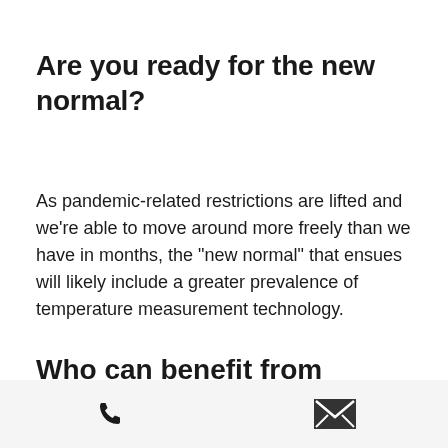Are you ready for the new normal?
As pandemic-related restrictions are lifted and we're able to move around more freely than we have in months, the “new normal” that ensues will likely include a greater prevalence of temperature measurement technology.
Who can benefit from Thermal Cameras In Florida?
Phone and email contact icons